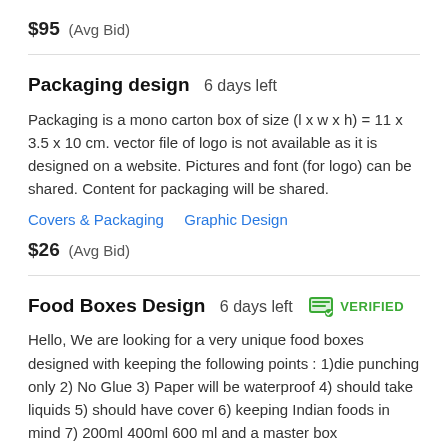$95  (Avg Bid)
Packaging design  6 days left
Packaging is a mono carton box of size (l x w x h) = 11 x 3.5 x 10 cm. vector file of logo is not available as it is designed on a website. Pictures and font (for logo) can be shared. Content for packaging will be shared.
Covers & Packaging   Graphic Design
$26  (Avg Bid)
Food Boxes Design  6 days left  VERIFIED
Hello, We are looking for a very unique food boxes designed with keeping the following points : 1)die punching only 2) No Glue 3) Paper will be waterproof 4) should take liquids 5) should have cover 6) keeping Indian foods in mind 7) 200ml 400ml 600 ml and a master box